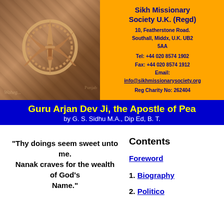[Figure (illustration): Khanda symbol (Sikh religious emblem) overlaid on sepia-toned collage of Sikh historical images, on blue background]
Sikh Missionary Society U.K. (Regd)
10, Featherstone Road.
Southall, Middx, U.K. UB2 5AA
Tel: +44 020 8574 1902
Fax: +44 020 8574 1912
Email: info@sikhmissionarysociety.org
Reg Charity No: 262404
Guru Arjan Dev Ji, the Apostle of Peace
by G. S. Sidhu M.A., Dip Ed, B. T.
"Thy doings seem sweet unto me. Nanak craves for the wealth of God's Name."
Contents
Foreword
1. Biography
2. Politico